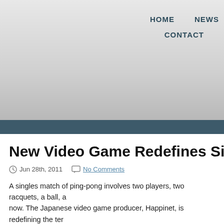HOME   NEWS   CONTACT
New Video Game Redefines Singles Match
Jun 28th, 2011   No Comments
A singles match of ping-pong involves two players, two racquets, a ball, and a table — until now. The Japanese video game producer, Happinet, is redefining the term with the release of "Hyper Ping Pong."
I'm not exactly sure where to begin.
For starters, Hyper Ping Pong manages to do away with all the complications between a person and a riveting match of ping-pong. No more pesky balls, tables, and — who needs them?! Hyper Ping Pong replaces them with a single paddle for one player. By swinging the paddle, the game produces realistic sounds that simulate a rally with a non-existent foe. In order to time your returns properly, a player must listen for the sound and...